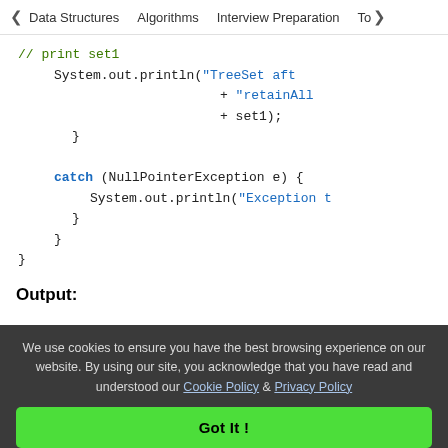< Data Structures   Algorithms   Interview Preparation   To>
// print set1
            System.out.println("TreeSet aft
                                      + "retainAll
                                      + set1);
        }

        catch (NullPointerException e) {
            System.out.println("Exception t
        }
    }
}
Output:
We use cookies to ensure you have the best browsing experience on our website. By using our site, you acknowledge that you have read and understood our Cookie Policy & Privacy Policy
Got It !